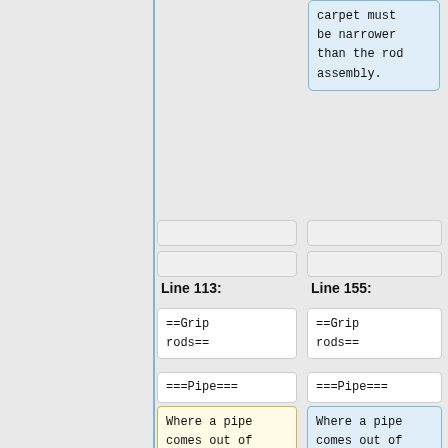carpet must be narrower than the rod assembly.
Line 113:
Line 155:
==Grip rods==
==Grip rods==
===Pipe===
===Pipe===
Where a pipe comes out of the floor, just cut the carpet around it.
Where a pipe comes out of the [[:Category:Floors|floor]], just cut the carpet
- No need for
+ the carpet